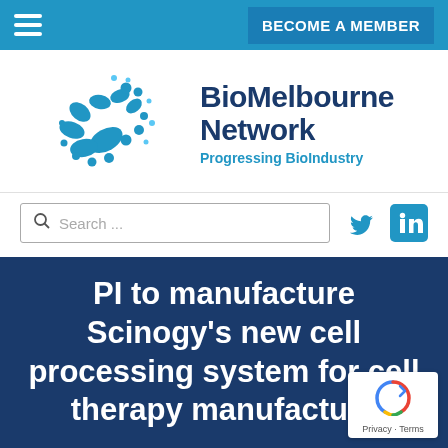BECOME A MEMBER
[Figure (logo): BioMelbourne Network logo with blue circular cell-like shapes and text 'BioMelbourne Network – Progressing BioIndustry']
[Figure (other): Search bar with magnifying glass icon and placeholder text 'Search...' alongside Twitter and LinkedIn social media icons]
PI to manufacture Scinogy's new cell processing system for cell therapy manufacture